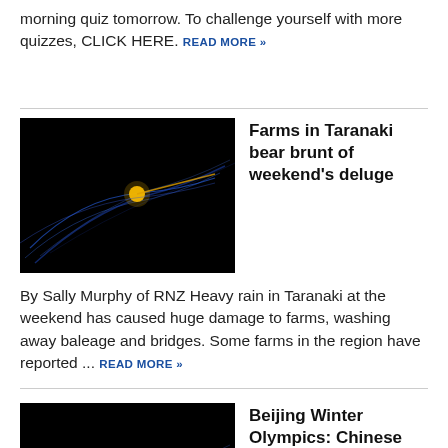morning quiz tomorrow. To challenge yourself with more quizzes, CLICK HERE. READ MORE »
Farms in Taranaki bear brunt of weekend's deluge
[Figure (photo): Dark background with blue light trails and a bright yellow dot, abstract speed or motion graphic]
By Sally Murphy of RNZ Heavy rain in Taranaki at the weekend has caused huge damage to farms, washing away baleage and bridges. Some farms in the region have reported ... READ MORE »
Beijing Winter Olympics: Chinese speed skater's 'suspect' act caught on camera
[Figure (photo): Dark background with blue light trails and a bright yellow dot, abstract speed or motion graphic]
Questions are being asked after a Chinese speed